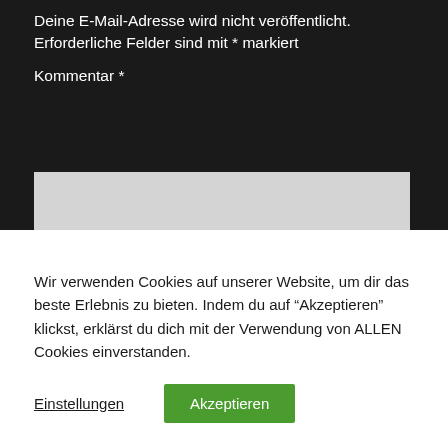Deine E-Mail-Adresse wird nicht veröffentlicht. Erforderliche Felder sind mit * markiert
Kommentar *
[Figure (other): Large light gray comment/text input area (textarea form field)]
Wir verwenden Cookies auf unserer Website, um dir das beste Erlebnis zu bieten. Indem du auf "Akzeptieren" klickst, erklärst du dich mit der Verwendung von ALLEN Cookies einverstanden.
Einstellungen
Akzeptieren